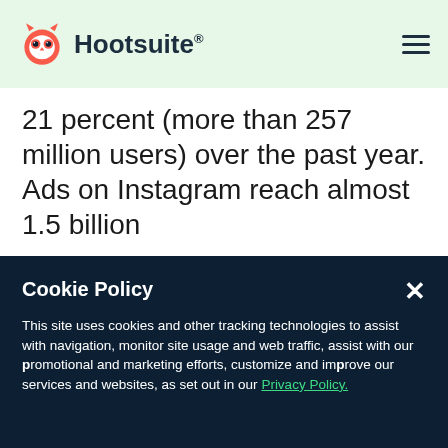Hootsuite
21 percent (more than 257 million users) over the past year. Ads on Instagram reach almost 1.5 billion
Cookie Policy
This site uses cookies and other tracking technologies to assist with navigation, monitor site usage and web traffic, assist with our promotional and marketing efforts, customize and improve our services and websites, as set out in our Privacy Policy.